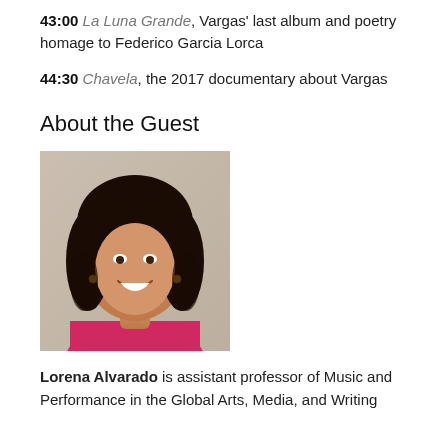43:00 La Luna Grande, Vargas’ last album and poetry homage to Federico Garcia Lorca
44:30 Chavela, the 2017 documentary about Vargas
About the Guest
[Figure (photo): Headshot of Lorena Alvarado, a woman with long dark curly hair, smiling, wearing a pink top, against a light background.]
Lorena Alvarado is assistant professor of Music and Performance in the Global Arts, Media, and Writing